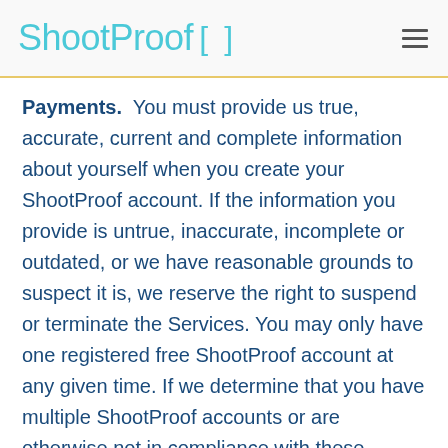ShootProof [ ]
Payments.  You must provide us true, accurate, current and complete information about yourself when you create your ShootProof account. If the information you provide is untrue, inaccurate, incomplete or outdated, or we have reasonable grounds to suspect it is, we reserve the right to suspend or terminate the Services. You may only have one registered free ShootProof account at any given time. If we determine that you have multiple ShootProof accounts or are otherwise not in compliance with these Terms, we may close your ShootProof accounts and delete all photographs in the accounts. If there is a